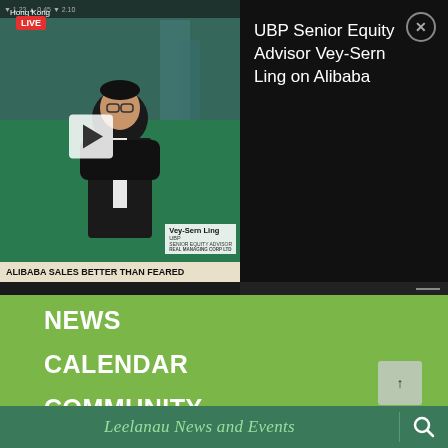[Figure (screenshot): CNBC/Bloomberg style live news video thumbnail showing an Asian male presenter in suit with glasses. Text overlay shows 'LIVE Hong Kong'. Name bar reads 'Vey-Sern Ling UBP SENIOR EQUITY ADVISOR'. Breaking news bar at bottom reads 'ALIBABA SALES BETTER THAN FEARED'. A white play button is visible.]
UBP Senior Equity Advisor Vey-Sern Ling on Alibaba
NEWS
CALENDAR
COMMUNITY
REAL ESTATE
CLASSIFIEDS
ABOUT US
SUBSCRIBE
Leelanau News and Events